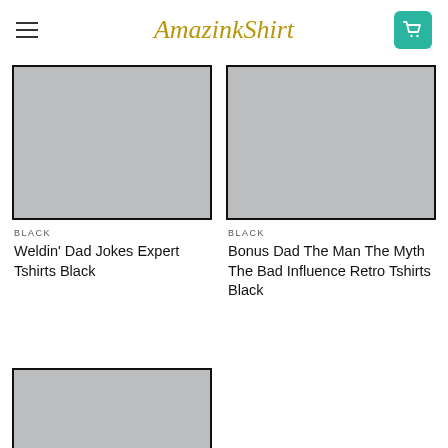AmazinkShirt
[Figure (photo): Gray placeholder image for product 1]
BLACK
Weldin’ Dad Jokes Expert Tshirts Black
[Figure (photo): Gray placeholder image for product 2]
BLACK
Bonus Dad The Man The Myth The Bad Influence Retro Tshirts Black
[Figure (photo): Gray placeholder image for product 3 (partially visible)]